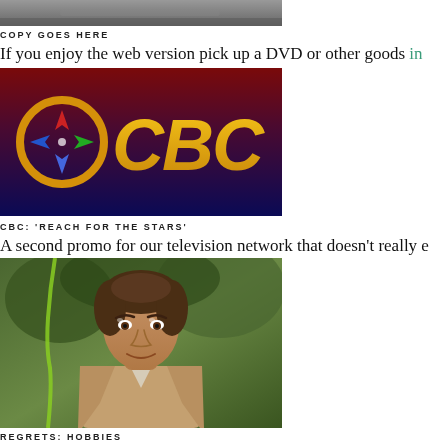[Figure (photo): Top cropped photo, partially visible, grey/dark tones]
COPY GOES HERE
If you enjoy the web version pick up a DVD or other goods in
[Figure (logo): OCBC logo on dark gradient background (dark red to dark blue), with colorful star/compass icon and gold OCBC text]
CBC: 'REACH FOR THE STARS'
A second promo for our television network that doesn't really e
[Figure (photo): Young man with curly brown hair, wearing a tan jacket, looking slightly off-camera, outdoor background with trees and green ribbon]
REGRETS: HOBBIES